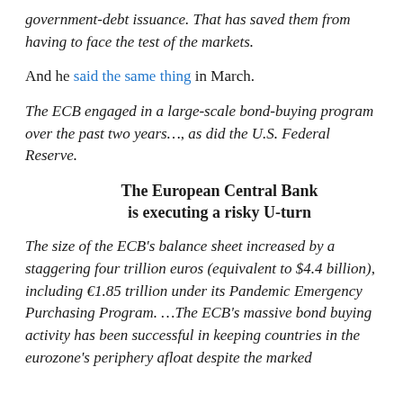government-debt issuance. That has saved them from having to face the test of the markets.
And he said the same thing in March.
The ECB engaged in a large-scale bond-buying program over the past two years…, as did the U.S. Federal Reserve.
The European Central Bank is executing a risky U-turn
The size of the ECB's balance sheet increased by a staggering four trillion euros (equivalent to $4.4 billion), including €1.85 trillion under its Pandemic Emergency Purchasing Program. …The ECB's massive bond buying activity has been successful in keeping countries in the eurozone's periphery afloat despite the marked